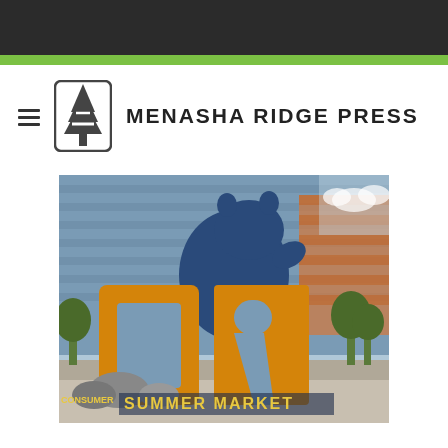[Figure (logo): Menasha Ridge Press logo with tree icon and hamburger menu]
[Figure (photo): Outdoor Retailer Summer Market sign with large orange 'OR' letters and a blue bear statue in front of a convention center building]